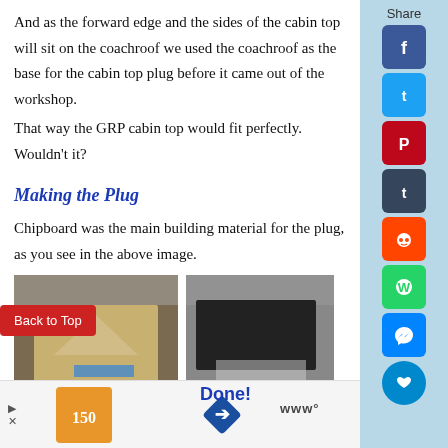And as the forward edge and the sides of the cabin top will sit on the coachroof we used the coachroof as the base for the cabin top plug before it came out of the workshop.
That way the GRP cabin top would fit perfectly. Wouldn't it?
Making the Plug
Chipboard was the main building material for the plug, as you see in the above image.
[Figure (photo): Workshop photo showing a person working on what appears to be a boat cabin top plug made of chipboard, viewed from above.]
[Figure (photo): Workshop photo showing a dark-colored boat cabin top structure or mold from outside.]
Done!